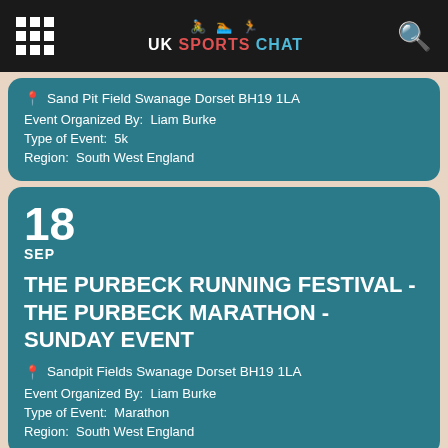UK Sports Chat
Sand Pit Field Swanage Dorset BH19 1LA
Event Organized By: Liam Burke
Type of Event: 5k
Region: South West England
18
SEP
THE PURBECK RUNNING FESTIVAL - THE PURBECK MARATHON - SUNDAY EVENT
Sandpit Fields Swanage Dorset BH19 1LA
Event Organized By: Liam Burke
Type of Event: Marathon
Region: South West England
18